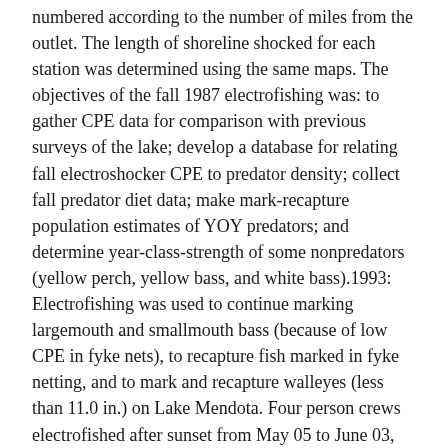numbered according to the number of miles from the outlet. The length of shoreline shocked for each station was determined using the same maps. The objectives of the fall 1987 electrofishing was: to gather CPE data for comparison with previous surveys of the lake; develop a database for relating fall electroshocker CPE to predator density; collect fall predator diet data; make mark-recapture population estimates of YOY predators; and determine year-class-strength of some nonpredators (yellow perch, yellow bass, and white bass).1993: Electrofishing was used to continue marking largemouth and smallmouth bass (because of low CPE in fyke nets), to recapture fish marked in fyke netting, and to mark and recapture walleyes (less than 11.0 in.) on Lake Mendota. Four person crews electrofished after sunset from May 05 to June 03, 1993. A standard WDNR electrofishing boat was used, set at about 300 volts and 15.0 amps (mean) DC, with a 20 % duty cycle at 60